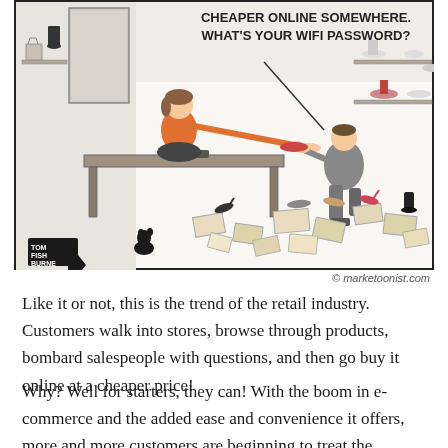[Figure (illustration): A cartoon by Tom Fishburne (marketoonist.com) showing a shoe store scene. A salesperson kneels fitting shoes on a seated customer. The customer says 'CHEAPER ONLINE SOMEWHERE. WHAT'S YOUR WIFI PASSWORD?' The floor is strewn with open shoe boxes and various shoes. Shelves in the background display shoes. A black cat figure is visible near the bottom. The artist signature reads TOM FISH BURNE in the bottom left corner.]
© marketoonist.com
Like it or not, this is the trend of the retail industry. Customers walk into stores, browse through products, bombard salespeople with questions, and then go buy it online at a cheaper price!
Why? Well for starters, they can! With the boom in e-commerce and the added ease and convenience it offers, more and more customers are beginning to treat the